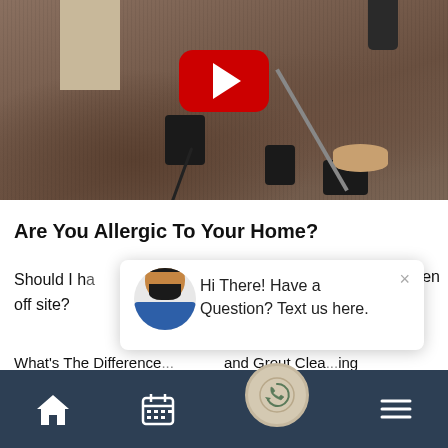[Figure (screenshot): YouTube video thumbnail showing carpet cleaning equipment on a brown carpet floor, with a red YouTube play button overlay in the center]
Are You Allergic To Your Home?
Should I ha... ken
off site?
[Figure (screenshot): Chat popup with cartoon avatar of a bearded man in a blue shirt. Text reads: Hi There! Have a Question? Text us here. Close button (×) at top right.]
What's The Difference... and Grout Clea...ing
[Figure (screenshot): Bottom navigation bar with dark blue background showing house icon, calendar icon, phone circle button in center, and hamburger menu icon]